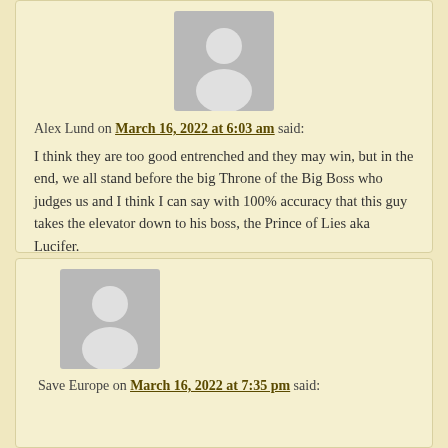[Figure (illustration): Grey avatar placeholder icon showing a silhouette of a person]
Alex Lund on March 16, 2022 at 6:03 am said:
I think they are too good entrenched and they may win, but in the end, we all stand before the big Throne of the Big Boss who judges us and I think I can say with 100% accuracy that this guy takes the elevator down to his boss, the Prince of Lies aka Lucifer.
There he will be given his reward, the 30 pieces of silver, liquid, down his throat. For all eternity.

(Reminds me of the movie “Little Nickie” and the punishment of Hitler. I just say pineapple…)
Reply ↓
[Figure (illustration): Grey avatar placeholder icon showing a silhouette of a person]
Save Europe on March 16, 2022 at 7:35 pm said: